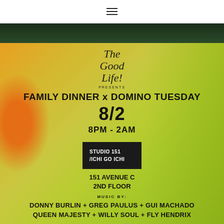☰ (hamburger menu icon)
[Figure (illustration): Dark green/teal banner image at top]
[Figure (infographic): Event flyer with gradient orange-yellow-green background. Shows 'The Good Life! PRESENTS FAMILY DINNER x DOMINO TUESDAY 8/2 8PM - 2AM STUDIO 151 /ICHI GO ICHI 151 AVENUE C 2ND FLOOR MUSIC BY: DONNY BURLIN + GREG PAULUS + GUI MACHADO QUEEN MAJESTY + WILLY SOUL + FLY HENDRIX RSVP: FAMILYDINNER@WEARETHEGOODLIFE.COM']